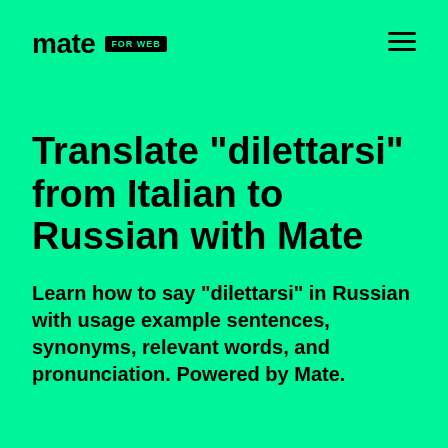mate FOR WEB
Translate "dilettarsi" from Italian to Russian with Mate
Learn how to say "dilettarsi" in Russian with usage example sentences, synonyms, relevant words, and pronunciation. Powered by Mate.